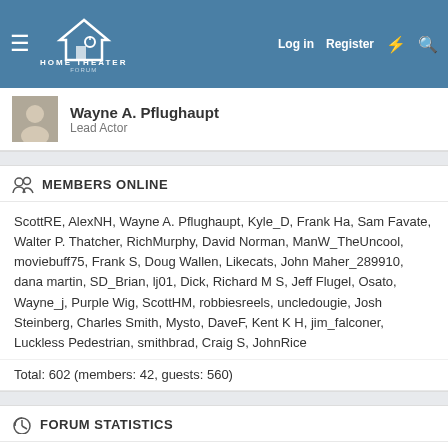Home Theater Forum — Log in | Register
Wayne A. Pflughaupt
Lead Actor
MEMBERS ONLINE
ScottRE, AlexNH, Wayne A. Pflughaupt, Kyle_D, Frank Ha, Sam Favate, Walter P. Thatcher, RichMurphy, David Norman, ManW_TheUncool, moviebuff75, Frank S, Doug Wallen, Likecats, John Maher_289910, dana martin, SD_Brian, lj01, Dick, Richard M S, Jeff Flugel, Osato, Wayne_j, Purple Wig, ScottHM, robbiesreels, uncledougie, Josh Steinberg, Charles Smith, Mysto, DaveF, Kent K H, jim_falconer, Luckless Pedestrian, smithbrad, Craig S, JohnRice
Total: 602 (members: 42, guests: 560)
FORUM STATISTICS
Threads:	351,614
Messages:	4,958,959